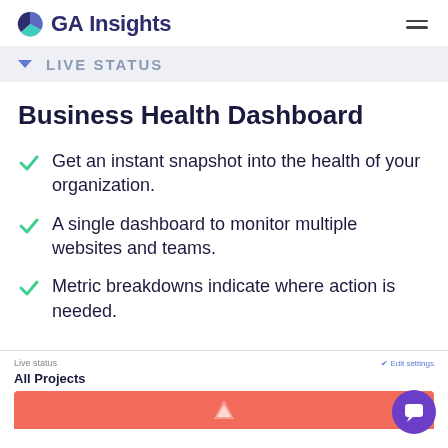GA Insights
LIVE STATUS
Business Health Dashboard
Get an instant snapshot into the health of your organization.
A single dashboard to monitor multiple websites and teams.
Metric breakdowns indicate where action is needed.
[Figure (screenshot): Preview of a Live Status dashboard panel showing 'All Projects' with a red section and edit settings link]